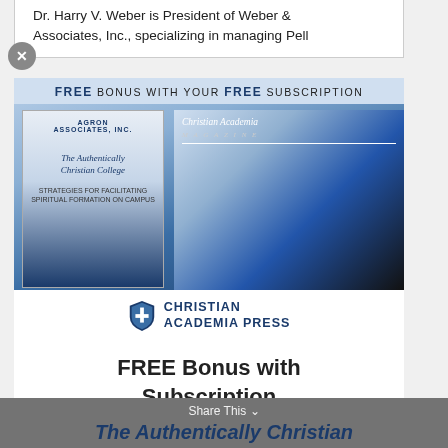Dr. Harry V. Weber is President of Weber & Associates, Inc., specializing in managing Pell
[Figure (infographic): Advertisement for Christian Academia Press showing a free bonus with free subscription. Features two items: a book cover for 'The Authentically Christian College: Strategies for Facilitating Spiritual Formation on Campus' by Agron Associates Inc., and a magazine cover for Christian Academia Magazine showing a speaker at a conference. Below the images is the Christian Academia Press logo with shield icon and text 'CHRISTIAN ACADEMIA PRESS'.]
FREE Bonus with Subscription
Share This
The Authentically Christian